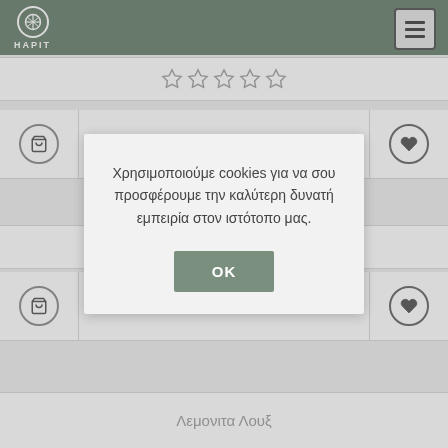HAPIT
[Figure (illustration): Star rating row - 5 empty stars]
€3,60
Χρησιμοποιούμε cookies για να σου προσφέρουμε την καλύτερη δυνατή εμπειρία στον ιστότοπο μας.
OK
[Figure (illustration): Star rating row - 5 empty stars]
€1,40
Λεμονιτα Λουξ